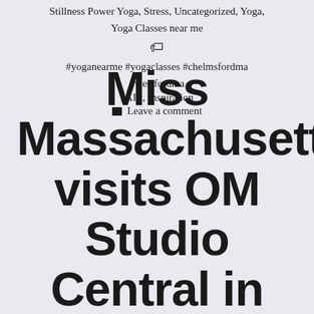Stillness Power Yoga, Stress, Uncategorized, Yoga, Yoga Classes near me
🏷 #yoganearme #yogaclasses #chelmsfordma #westfordma
, ARt, Inspiration
■ Leave a comment
Miss Massachusetts visits OM Studio Central in